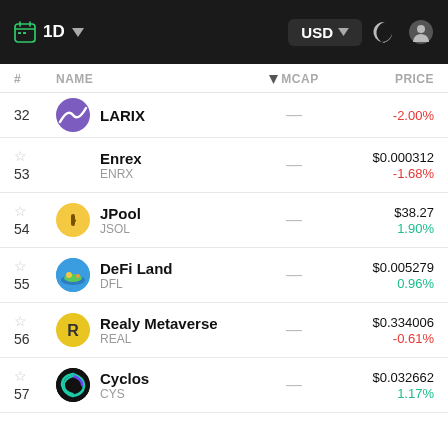1D | USD
| # | NAME | MCAP | PRICE |
| --- | --- | --- | --- |
| 32 | LARIX | — | -2.00% |
| 53 | Enrex ENRX | — | $0.000312 -1.68% |
| 54 | JPool JSOL | — | $38.27 1.90% |
| 55 | DeFi Land DFL | — | $0.005279 0.96% |
| 56 | Realy Metaverse REAL | — | $0.334006 -0.61% |
| 57 | Cyclos CYS | — | $0.032662 1.17% |